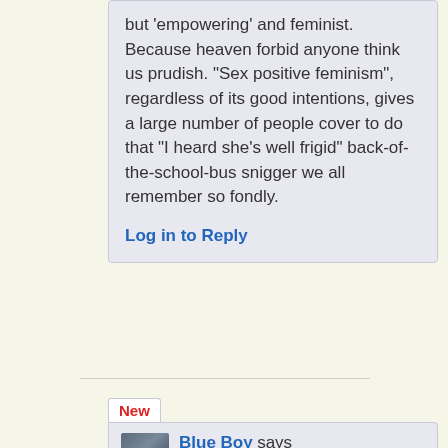but 'empowering' and feminist. Because heaven forbid anyone think us prudish. "Sex positive feminism", regardless of its good intentions, gives a large number of people cover to do that "I heard she's well frigid" back-of-the-school-bus snigger we all remember so fondly.
Log in to Reply
New
Blue Boy says 14/03/2021 at 13:29